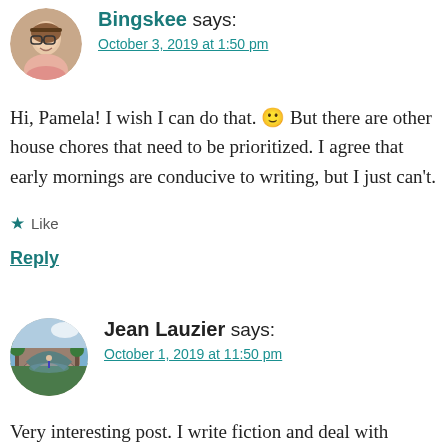[Figure (photo): Round avatar photo of Bingskee, a woman with glasses]
Bingskee says:
October 3, 2019 at 1:50 pm
Hi, Pamela! I wish I can do that. 🙂 But there are other house chores that need to be prioritized. I agree that early mornings are conducive to writing, but I just can't.
★ Like
Reply
[Figure (photo): Round avatar image of Jean Lauzier, a decorative illustration style avatar]
Jean Lauzier says:
October 1, 2019 at 11:50 pm
Very interesting post. I write fiction and deal with